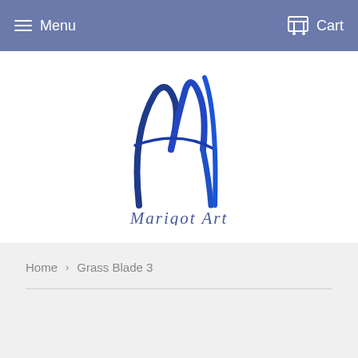Menu   Cart
[Figure (logo): Marigot Art logo: stylized blue letter M with sweeping curves and a horizontal swoosh, with 'Marigot Art' text below in blue-grey italic font]
Home  ›  Grass Blade 3